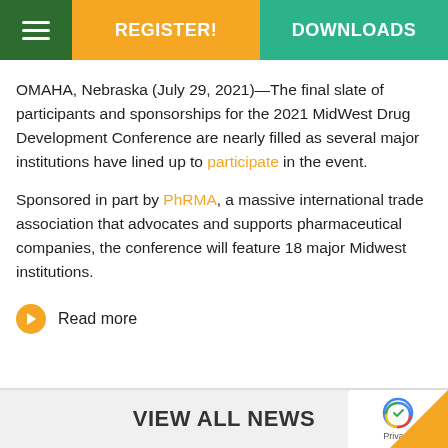REGISTER! | DOWNLOADS
OMAHA, Nebraska (July 29, 2021)—The final slate of participants and sponsorships for the 2021 MidWest Drug Development Conference are nearly filled as several major institutions have lined up to participate in the event.
Sponsored in part by PhRMA, a massive international trade association that advocates and supports pharmaceutical companies, the conference will feature 18 major Midwest institutions.
Read more
VIEW ALL NEWS